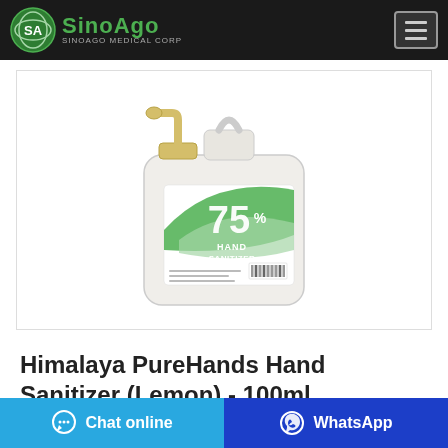SINOAGO SINOAGO MEDICAL Corp
[Figure (photo): A large white plastic jug/bottle of hand sanitizer with a yellow pump dispenser on top. The label shows '75%' in large green text and reads 'HAND SANITIZER'. There is a barcode on the label.]
Himalaya PureHands Hand Sanitizer (Lemon) - 100ml …
Chat online | WhatsApp